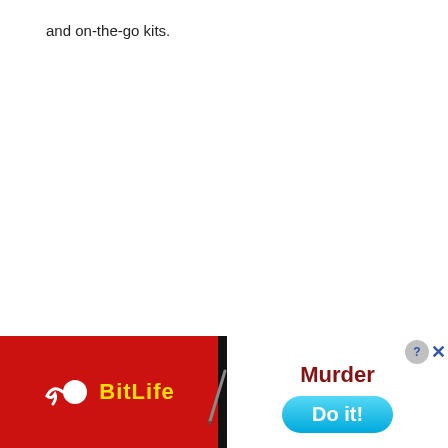and on-the-go kits.
38. Foam Roller
[Figure (screenshot): Advertisement overlay at the bottom of the page. Left side: red background with BitLife game logo (white sperm icon and yellow 'BitLife' text). Right side: white background with 'Murder' in dark red bold text, a 'Do it!' button in blue/cyan, close button (X) and question mark button in top right corner. A dark vertical separator divides the two halves. A pencil/stylus icon appears near the separator.]